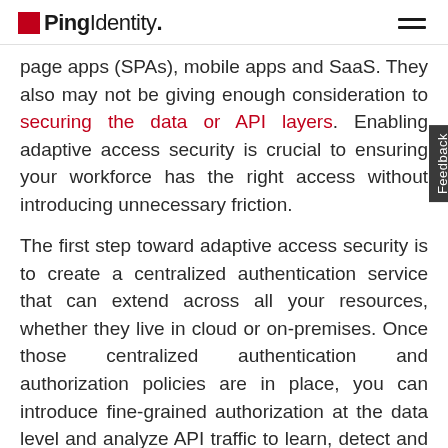Ping Identity
page apps (SPAs), mobile apps and SaaS. They also may not be giving enough consideration to securing the data or API layers. Enabling adaptive access security is crucial to ensuring your workforce has the right access without introducing unnecessary friction.
The first step toward adaptive access security is to create a centralized authentication service that can extend across all your resources, whether they live in cloud or on-premises. Once those centralized authentication and authorization policies are in place, you can introduce fine-grained authorization at the data level and analyze API traffic to learn, detect and block potential threats. But this shouldn't come at the cost of productivity. Smart policies based on dynamic risk scoring can grant access to a user, require step-up authentication if necessary or deny access altogether.